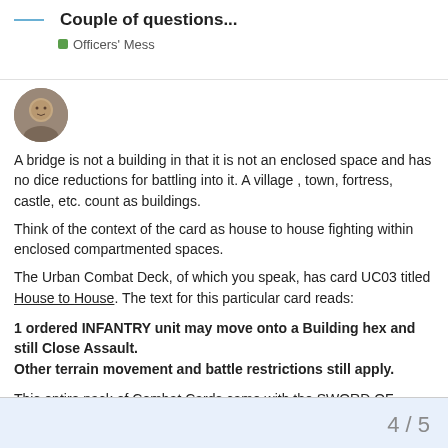Couple of questions... | Officers' Mess
[Figure (photo): User avatar - portrait photo of a person]
A bridge is not a building in that it is not an enclosed space and has no dice reductions for battling into it. A village , town, fortress, castle, etc. count as buildings.
Think of the context of the card as house to house fighting within enclosed compartmented spaces.
The Urban Combat Deck, of which you speak, has card UC03 titled House to House. The text for this particular card reads:
1 ordered INFANTRY unit may move onto a Building hex and still Close Assault.
Other terrain movement and battle restrictions still apply.
This entire pack of Combat Cards came with the SWORD OF STALINGRAD battle map.

The rules manual for that expansion is here:
4 / 5